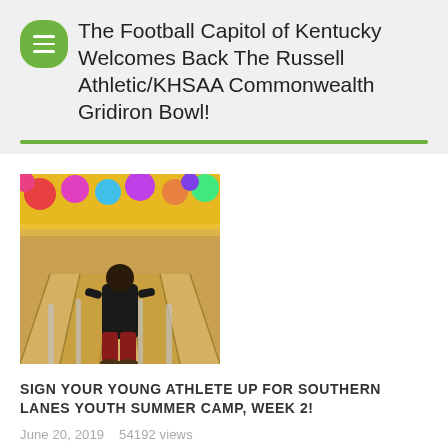The Football Capitol of Kentucky Welcomes Back The Russell Athletic/KHSAA Commonwealth Gridiron Bowl!
[Figure (photo): A person standing at a bowling alley lane viewed from behind, with colorful balloon decorations and bowling lanes stretching into the distance.]
SIGN YOUR YOUNG ATHLETE UP FOR SOUTHERN LANES YOUTH SUMMER CAMP, WEEK 2!
June 20, 2019   54192 views